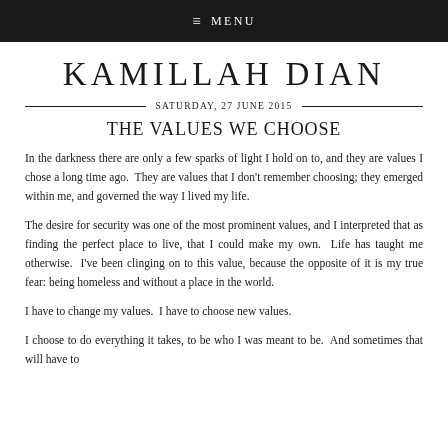≡ MENU
KAMILLAH DIAN
SATURDAY, 27 JUNE 2015
THE VALUES WE CHOOSE
In the darkness there are only a few sparks of light I hold on to, and they are values I chose a long time ago.  They are values that I don't remember choosing; they emerged within me, and governed the way I lived my life.
The desire for security was one of the most prominent values, and I interpreted that as finding the perfect place to live, that I could make my own.  Life has taught me otherwise.  I've been clinging on to this value, because the opposite of it is my true fear: being homeless and without a place in the world.
I have to change my values.  I have to choose new values.
I choose to do everything it takes, to be who I was meant to be.  And sometimes that will have to